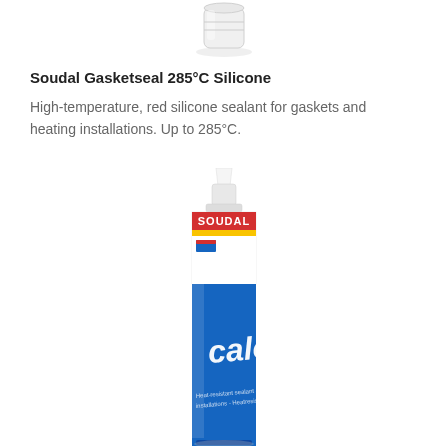[Figure (photo): Partial view of a white tube cap/nozzle of a sealant product at the top of the page]
Soudal Gasketseal 285°C Silicone
High-temperature, red silicone sealant for gaskets and heating installations. Up to 285°C.
[Figure (photo): Soudal branded tube of Calofer heat-resistant sealant with white cap/nozzle at top, white label area showing red Soudal logo stripe and yellow stripe, blue body with white italic text reading 'calofer' and smaller text below]